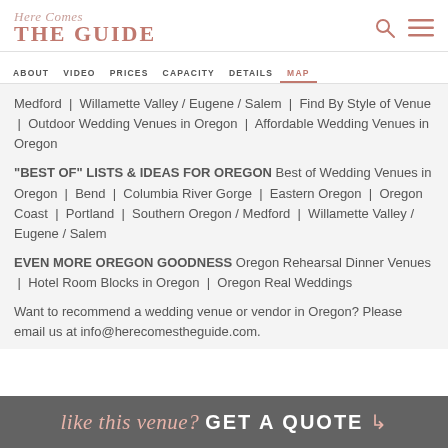Here Comes THE GUIDE
ABOUT | VIDEO | PRICES | CAPACITY | DETAILS | MAP
Medford | Willamette Valley / Eugene / Salem | Find By Style of Venue | Outdoor Wedding Venues in Oregon | Affordable Wedding Venues in Oregon
"BEST OF" LISTS & IDEAS FOR OREGON Best of Wedding Venues in Oregon | Bend | Columbia River Gorge | Eastern Oregon | Oregon Coast | Portland | Southern Oregon / Medford | Willamette Valley / Eugene / Salem
EVEN MORE OREGON GOODNESS Oregon Rehearsal Dinner Venues | Hotel Room Blocks in Oregon | Oregon Real Weddings
Want to recommend a wedding venue or vendor in Oregon? Please email us at info@herecomestheguide.com.
like this venue? GET A QUOTE